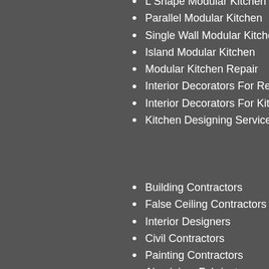L Shape Modular Kitchen
Parallel Modular Kitchen
Single Wall Modular Kitchen
Island Modular Kitchen
Modular Kitchen Repair
Interior Decorators For Resi…
Interior Decorators For Kitch…
Kitchen Designing Services
Building Contractors
False Ceiling Contractors
Interior Designers
Civil Contractors
Painting Contractors
Aluminium Fabricators